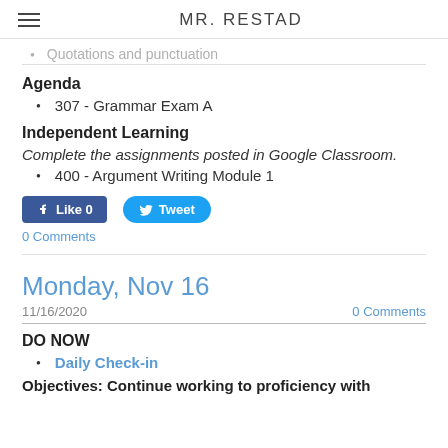MR. RESTAD
Quotations and punctuation
Agenda
307 - Grammar Exam A
Independent Learning
Complete the assignments posted in Google Classroom.
400 - Argument Writing Module 1
[Figure (other): Facebook Like button showing 0 likes and Twitter Tweet button]
0 Comments
Monday, Nov 16
11/16/2020    0 Comments
DO NOW
Daily Check-in
Objectives: Continue working to proficiency with